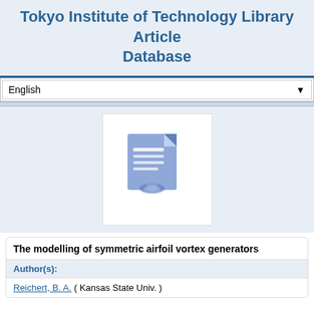Tokyo Institute of Technology Library Article Database
English
[Figure (illustration): Document/file icon in blue tones representing a library article or database entry]
The modelling of symmetric airfoil vortex generators
Author(s):
Reichert, B. A. ( Kansas State Univ. )